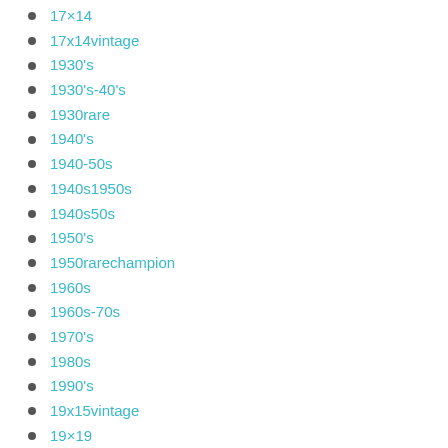17×14
17x14vintage
1930's
1930's-40's
1930rare
1940's
1940-50s
1940s1950s
1940s50s
1950's
1950rarechampion
1960s
1960s-70s
1970's
1980s
1990's
19x15vintage
19×19
20×16
24x24lasvegas